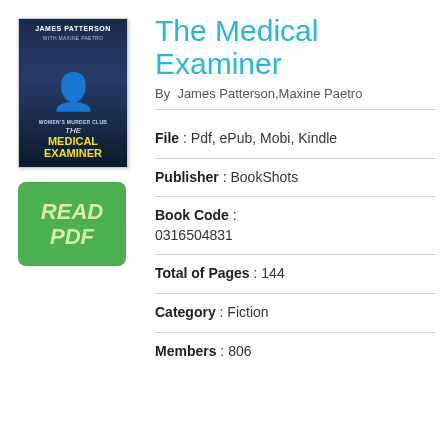[Figure (illustration): Book cover of The Medical Examiner by James Patterson and Maxine Paetro, dark blue background with a figure silhouette]
[Figure (illustration): Green READ PDF button]
The Medical Examiner
By James Patterson,Maxine Paetro
File : Pdf, ePub, Mobi, Kindle
Publisher : BookShots
Book Code : 0316504831
Total of Pages : 144
Category : Fiction
Members : 806